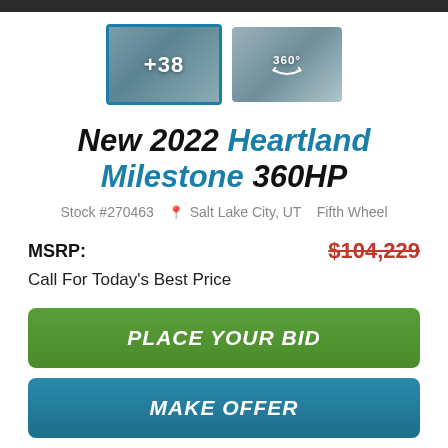[Figure (photo): Two thumbnail images side by side: left thumbnail shows RV interior with '+38' overlay and blue border (selected), right thumbnail shows RV interior with '360°' icon overlay]
New 2022 Heartland Milestone 360HP
Stock #270463  📍 Salt Lake City, UT   Fifth Wheel
MSRP: $104,229
Call For Today's Best Price
PLACE YOUR BID
MAKE OFFER